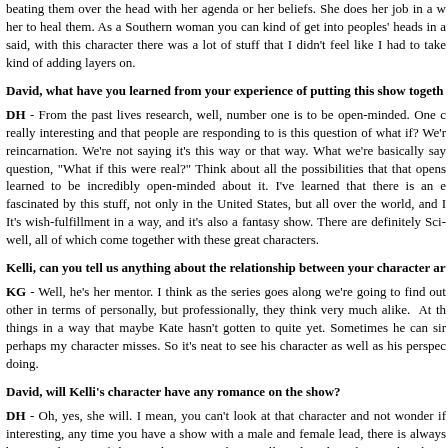beating them over the head with her agenda or her beliefs. She does her job in a w her to heal them. As a Southern woman you can kind of get into peoples' heads in a said, with this character there was a lot of stuff that I didn't feel like I had to take kind of adding layers on.
David, what have you learned from your experience of putting this show togeth
DH - From the past lives research, well, number one is to be open-minded. One c really interesting and that people are responding to is this question of what if? We'r reincarnation. We're not saying it's this way or that way. What we're basically say question, "What if this were real?" Think about all the possibilities that that opens learned to be incredibly open-minded about it. I've learned that there is an e fascinated by this stuff, not only in the United States, but all over the world, and I It's wish-fulfillment in a way, and it's also a fantasy show. There are definitely Sci- well, all of which come together with these great characters.
Kelli, can you tell us anything about the relationship between your character ar
KG - Well, he's her mentor. I think as the series goes along we're going to find out other in terms of personally, but professionally, they think very much alike. At th things in a way that maybe Kate hasn't gotten to quite yet. Sometimes he can sir perhaps my character misses. So it's neat to see his character as well as his perspec doing.
David, will Kelli's character have any romance on the show?
DH - Oh, yes, she will. I mean, you can't look at that character and not wonder if interesting, any time you have a show with a male and female lead, there is always between the two of them. What's great about Kelli and Nick Bishop is that there' screen-test; we saw that the first time we got together and put them on film, and it that it's there, but as a storyteller and creator of the show, it's also something you h your two leads up, I guess would be the phrase. For now, I think their relationship